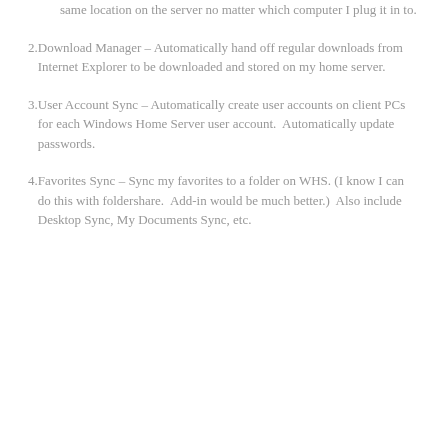same location on the server no matter which computer I plug it in to.
2. Download Manager – Automatically hand off regular downloads from Internet Explorer to be downloaded and stored on my home server.
3. User Account Sync – Automatically create user accounts on client PCs for each Windows Home Server user account.  Automatically update passwords.
4. Favorites Sync – Sync my favorites to a folder on WHS. (I know I can do this with foldershare.  Add-in would be much better.)  Also include Desktop Sync, My Documents Sync, etc.